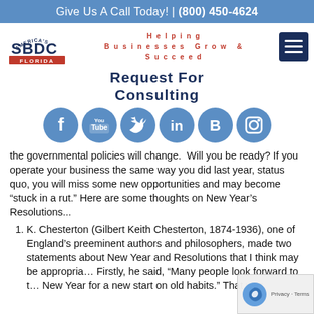Give Us A Call Today! | (800) 450-4624
[Figure (logo): America's SBDC Florida logo]
Helping Businesses Grow & Succeed
Request For Consulting
[Figure (infographic): Social media icons row: Facebook, YouTube, Twitter, LinkedIn, Blogger, Instagram]
the governmental policies will change.  Will you be ready? If you operate your business the same way you did last year, status quo, you will miss some new opportunities and may become “stuck in a rut.” Here are some thoughts on New Year’s Resolutions...
K. Chesterton (Gilbert Keith Chesterton, 1874-1936), one of England’s preeminent authors and philosophers, made two statements about New Year and Resolutions that I think may be appropria... Firstly, he said, “Many people look forward to the New Year for a new start on old habits.” That was...